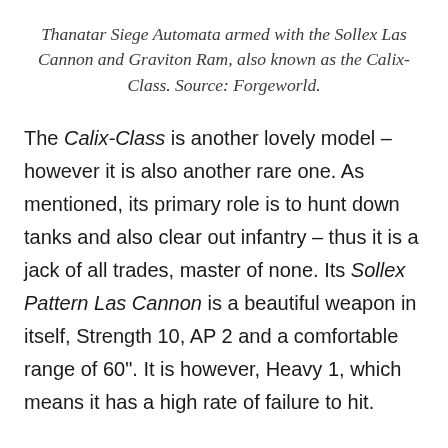Thanatar Siege Automata armed with the Sollex Las Cannon and Graviton Ram, also known as the Calix-Class. Source: Forgeworld.
The Calix-Class is another lovely model – however it is also another rare one. As mentioned, its primary role is to hunt down tanks and also clear out infantry – thus it is a jack of all trades, master of none. Its Sollex Pattern Las Cannon is a beautiful weapon in itself, Strength 10, AP 2 and a comfortable range of 60". It is however, Heavy 1, which means it has a high rate of failure to hit.